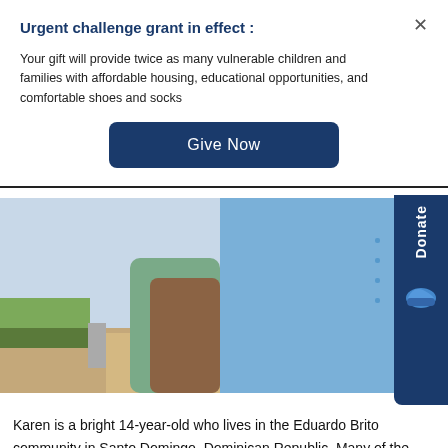Urgent challenge grant in effect :
Your gift will provide twice as many vulnerable children and families with affordable housing, educational opportunities, and comfortable shoes and socks
[Figure (other): Blue 'Give Now' button]
[Figure (photo): Photo of a person in a blue school uniform shirt with a logo patch, standing outdoors near a curb with greenery]
Karen is a bright 14-year-old who lives in the Eduardo Brito community in Santo Domingo, Dominican Republic. Many of the families who live in this community live far below the poverty line. Some struggle to provide food and clothing for their children and some live in homes without running water or electricity.